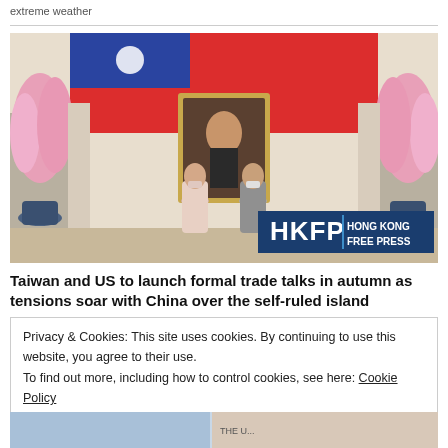extreme weather
[Figure (photo): Two women in masks standing in a formal hall in front of a large portrait painting and a red flag with blue corner. HKFP Hong Kong Free Press watermark visible in lower right.]
Taiwan and US to launch formal trade talks in autumn as tensions soar with China over the self-ruled island
Privacy & Cookies: This site uses cookies. By continuing to use this website, you agree to their use.
To find out more, including how to control cookies, see here: Cookie Policy
Close and accept